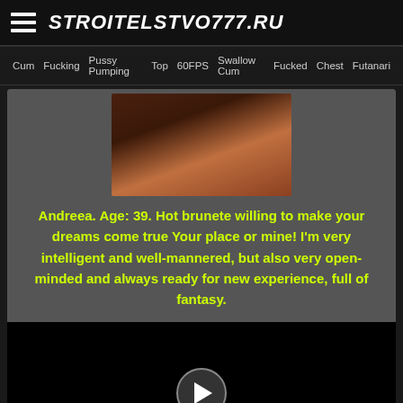STROITELSTVO777.RU
Cum  Fucking  Pussy Pumping  Top  60FPS  Swallow Cum  Fucked  Chest  Futanari
[Figure (photo): Thumbnail photo of a brunette woman]
Andreea. Age: 39. Hot brunete willing to make your dreams come true Your place or mine! I'm very intelligent and well-mannered, but also very open-minded and always ready for new experience, full of fantasy.
[Figure (screenshot): Black video player area with a circular play button in the center]